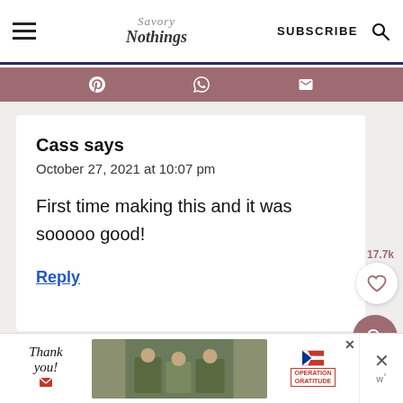Savory Nothings — SUBSCRIBE
Cass says
October 27, 2021 at 10:07 pm

First time making this and it was sooooo good!
Reply
[Figure (screenshot): Advertisement banner for Operation Gratitude with 'Thank you!' text and military personnel image]